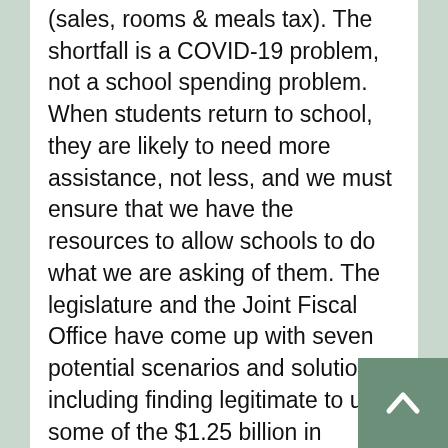(sales, rooms & meals tax). The shortfall is a COVID-19 problem, not a school spending problem. When students return to school, they are likely to need more assistance, not less, and we must ensure that we have the resources to allow schools to do what we are asking of them. The legislature and the Joint Fiscal Office have come up with seven potential scenarios and solutions, including finding legitimate to use some of the $1.25 billion in Coronavirus Relief Funds (CRF). If this isn't viable, there is still the possibility of Washington relaxing the restrictions on current CRF funds and/or a new relief package. And there may be other options. As we take up this process, I want to hear from you. Please get in touch if you have any comments, questions, or requests.